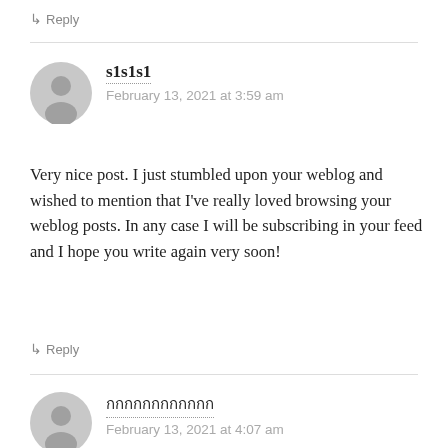↳ Reply
s1s1s1
February 13, 2021 at 3:59 am
Very nice post. I just stumbled upon your weblog and wished to mention that I've really loved browsing your weblog posts. In any case I will be subscribing in your feed and I hope you write again very soon!
↳ Reply
กกกกกกกกกกกก
February 13, 2021 at 4:07 am